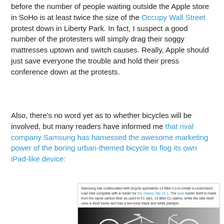before the number of people waiting outside the Apple store in SoHo is at least twice the size of the Occupy Wall Street protest down in Liberty Park. In fact, I suspect a good number of the protesters will simply drag their soggy mattresses uptown and switch causes. Really, Apple should just save everyone the trouble and hold their press conference down at the protests.
Also, there's no word yet as to whether bicycles will be involved, but many readers have informed me that rival company Samsung has harnessed the awesome marketing power of the boring urban-themed bicycle to flog its own iPad-like device:
[Figure (photo): A white road bicycle with a Samsung Galaxy Tab 10.1 mounted on the frame in a holder, shown against a dark gradient background. Above the image is a caption explaining Samsung collaborated with 14 Bike Co to create a customized road bike with a holder for the Galaxy Tab 10.1, noting the holder is made from the same carbon fiber used in F1 cars.]